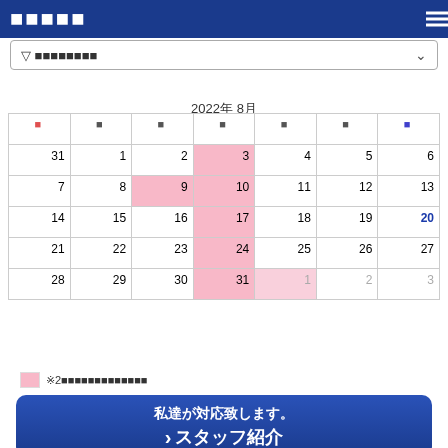ヘッダータイトル
▽ドロップダウン選択
2022年 8月
| 日 | 月 | 火 | 水 | 木 | 金 | 土 |
| --- | --- | --- | --- | --- | --- | --- |
| 31 | 1 | 2 | 3 | 4 | 5 | 6 |
| 7 | 8 | 9 | 10 | 11 | 12 | 13 |
| 14 | 15 | 16 | 17 | 18 | 19 | 20 |
| 21 | 22 | 23 | 24 | 25 | 26 | 27 |
| 28 | 29 | 30 | 31 | 1 | 2 | 3 |
※2週間以内の予約が可能な日程です
私達が対応致します。
スタッフ紹介